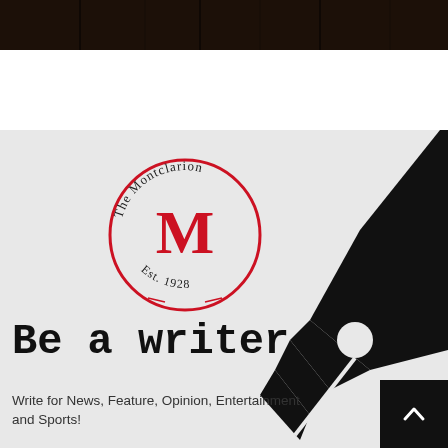[Figure (photo): Dark brown/black header image, appears to be a door or building facade]
[Figure (illustration): The Montclarion newspaper logo: red circle with red serif M in center, text 'The Montclarion' arched on top and 'Est. 1928' on bottom, on light gray background. Also includes a large black fountain pen nib graphic on the right side.]
Be a writer
Write for News, Feature, Opinion, Entertainment and Sports!